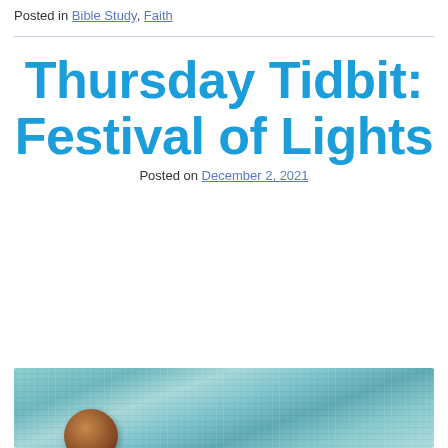Posted in Bible Study, Faith
Thursday Tidbit: Festival of Lights
Posted on December 2, 2021
[Figure (photo): Close-up photo of a blue knitted textile with a brown circular decorative object in the lower left area]